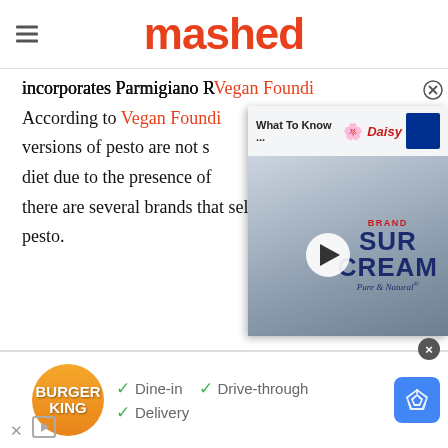mashed
incorporates Parmigiano R... According to Vegan Foundi... versions of pesto are not suitable for a vegan diet due to the presence of... there are several brands that sell vegan versions of pesto.
[Figure (screenshot): Video overlay thumbnail showing Daisy brand Sour Cream product with play button and 'What To Know ...' text bar at top]
[Figure (screenshot): Burger King advertisement banner showing Dine-in, Drive-through, and Delivery options with Google Maps direction icon]